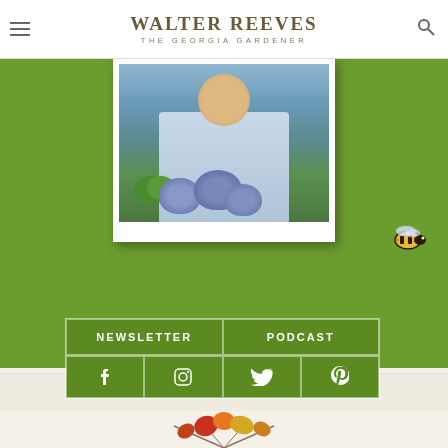WALTER REEVES THE GEORGIA GARDENER
[Figure (photo): Photo of Walter Reeves smiling, holding blue hydrangea flowers, on green background with bee illustration]
NEWSLETTER
PODCAST
[Figure (infographic): Social media icon buttons: Facebook, Instagram, Twitter, Pinterest]
ADVERTISEMENT
[Figure (illustration): Autumn leaves decorative illustration at bottom of page]